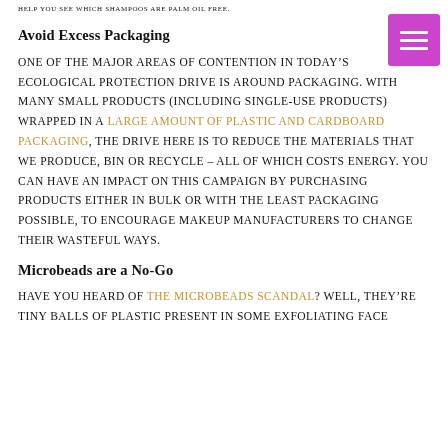HELP YOU SEE WHICH SHAMPOOS ARE PALM OIL FREE.
Avoid Excess Packaging
One of the major areas of contention in today's ecological protection drive is around packaging. With many small products (including single-use products) wrapped in a large amount of plastic and cardboard packaging, the drive here is to reduce the materials that we produce, bin or recycle – all of which costs energy. You can have an impact on this campaign by purchasing products either in bulk or with the least packaging possible, to encourage makeup manufacturers to change their wasteful ways.
Microbeads are a No-Go
Have you heard of the microbeads scandal? Well, they're tiny balls of plastic present in some exfoliating face